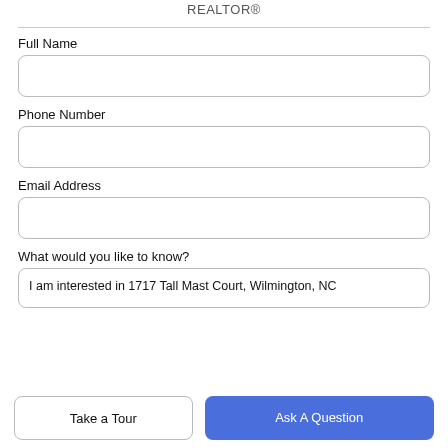REALTOR®
Full Name
Phone Number
Email Address
What would you like to know?
I am interested in 1717 Tall Mast Court, Wilmington, NC
Take a Tour
Ask A Question